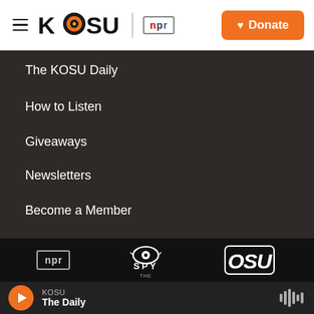KOSU | npr — Donate
The KOSU Daily
How to Listen
Giveaways
Newsletters
Become a Member
[Figure (logo): Partner logos: npr, The SPY, OSU]
KOSU — The Daily (player bar)